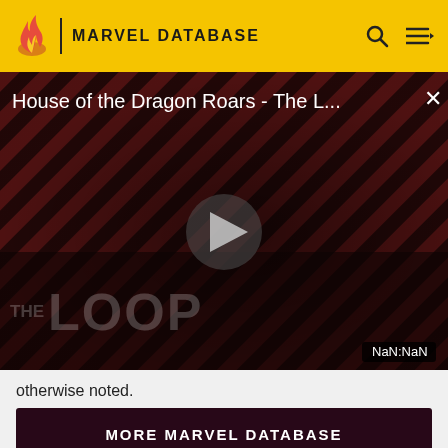MARVEL DATABASE
[Figure (screenshot): Video player showing 'House of the Dragon Roars - The L...' with play button, THE LOOP branding, and NaN:NaN timestamp on a diagonal striped dark red background with shadowy figures]
otherwise noted.
MORE MARVEL DATABASE